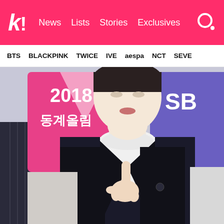k! News Lists Stories Exclusives
BTS BLACKPINK TWICE IVE aespa NCT SEVE
[Figure (photo): A young male K-pop idol wearing a white turtleneck and black blazer, pointing one finger upward, standing in front of a 2018 event backdrop with SBS branding and Korean text reading 동계올림픽 (Winter Olympics)]